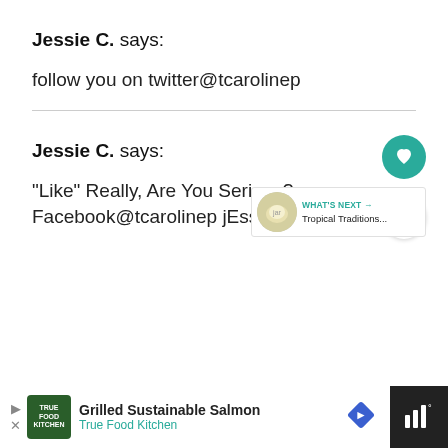Jessie C. says:
follow you on twitter@tcarolinep
Jessie C. says:
“Like” Really, Are You Serious? on Facebook@tcarolinep jEssieKat…
[Figure (infographic): WHAT'S NEXT arrow label with Tropical Traditions image and text]
[Figure (infographic): Advertisement bar: True Food Kitchen - Grilled Sustainable Salmon]